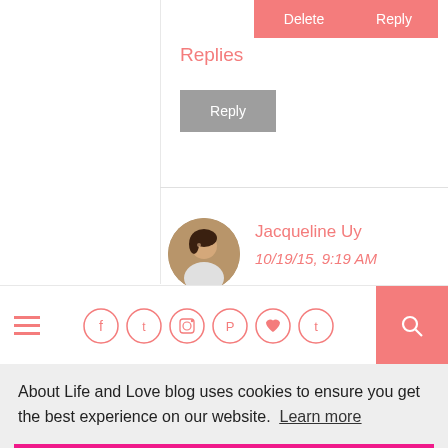Replies
Reply
Delete
Reply
Jacqueline Uy
10/19/15, 9:19 AM
[Figure (photo): Round avatar photo of Jacqueline Uy]
This song is so powerful, it
[Figure (other): Blog navigation bar with hamburger menu, social media icons (Facebook, Twitter, Instagram, Pinterest, Heart, Tumblr), and pink search button]
About Life and Love blog uses cookies to ensure you get the best experience on our website.  Learn more
Got it!
Heart wrenching